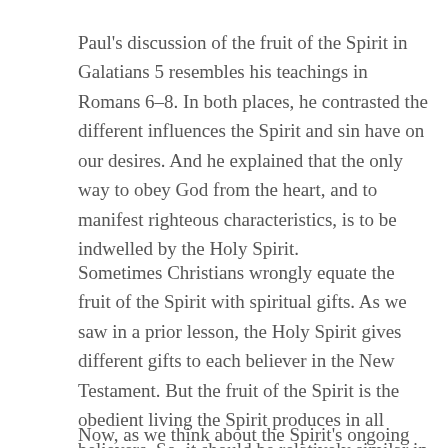Paul's discussion of the fruit of the Spirit in Galatians 5 resembles his teachings in Romans 6–8. In both places, he contrasted the different influences the Spirit and sin have on our desires. And he explained that the only way to obey God from the heart, and to manifest righteous characteristics, is to be indwelled by the Holy Spirit.
Sometimes Christians wrongly equate the fruit of the Spirit with spiritual gifts. As we saw in a prior lesson, the Holy Spirit gives different gifts to each believer in the New Testament. But the fruit of the Spirit is the obedient living the Spirit produces in all believers. So, it should be relatively similar in all our lives.
Now, as we think about the Spirit's ongoing work of sanctification in believers, we should mention that